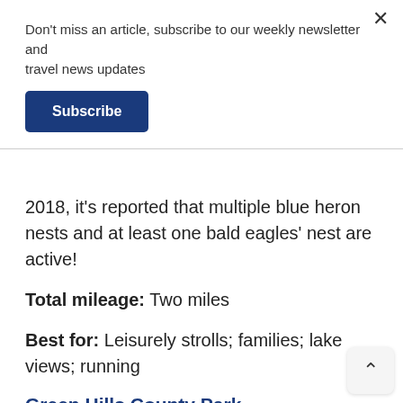Don't miss an article, subscribe to our weekly newsletter and travel news updates
Subscribe
2018, it's reported that multiple blue heron nests and at least one bald eagles' nest are active!
Total mileage: Two miles
Best for: Leisurely strolls; families; lake views; running
Green Hills County Park
This county park, now with a brand-new name, opened in July of 2010, just two years after the landfill that previously occupied the space ceased